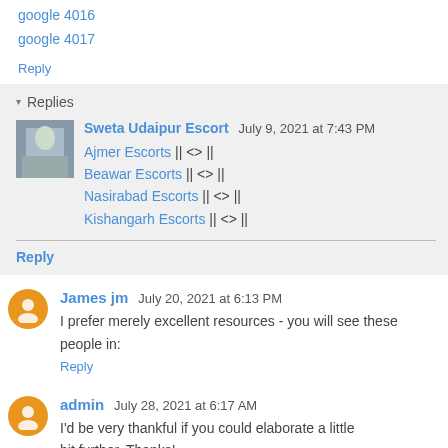google 4016
google 4017
Reply
▾ Replies
Sweta Udaipur Escort  July 9, 2021 at 7:43 PM
Ajmer Escorts || <> ||
Beawar Escorts || <> ||
Nasirabad Escorts || <> ||
Kishangarh Escorts || <> ||
Reply
James jm  July 20, 2021 at 6:13 PM
I prefer merely excellent resources - you will see these people in:
Reply
admin  July 28, 2021 at 6:17 AM
I'd be very thankful if you could elaborate a little bit further. Thanks!